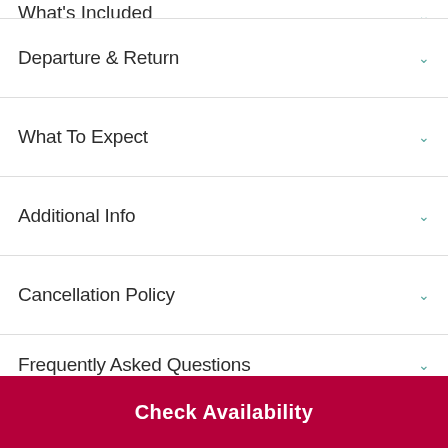What's Included
Departure & Return
What To Expect
Additional Info
Cancellation Policy
Frequently Asked Questions
Check Availability